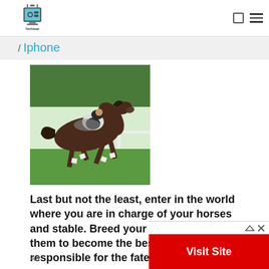[Figure (logo): Techiwar logo: a stylized monitor/computer icon with teal and gray colors, text 'Techiwar' below]
/ Iphone
[Figure (photo): A dark brown horse with a jockey in white and black riding gear galloping on green grass, with green hedges in the background.]
Last but not the least, enter in the world where you are in charge of your horses and stable. Breed your horses and train them to become the best!! You will be responsible for the fate
[Figure (other): Red advertisement banner with 'Visit Site' text in white, with ad indicator icons (triangle and X) in top right corner]